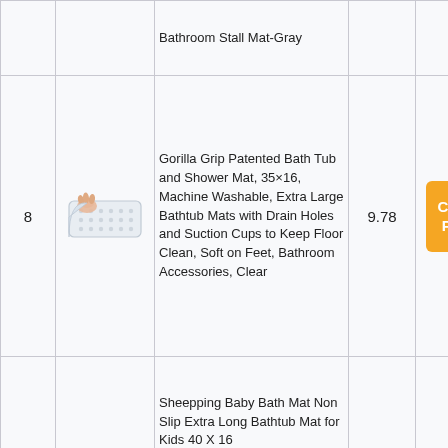| # | Image | Product Name | Score | Link |
| --- | --- | --- | --- | --- |
|  |  | Bathroom Stall Mat-Gray |  |  |
| 8 | [image] | Gorilla Grip Patented Bath Tub and Shower Mat, 35×16, Machine Washable, Extra Large Bathtub Mats with Drain Holes and Suction Cups to Keep Floor Clean, Soft on Feet, Bathroom Accessories, Clear | 9.78 | Check Price |
|  |  | Sheepping Baby Bath Mat Non Slip Extra Long Bathtub Mat for Kids 40 X 16 |  |  |